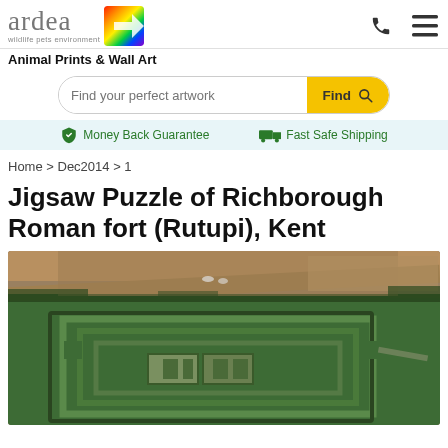ardea wildlife pets environment | Animal Prints & Wall Art
Find your perfect artwork | Find
Money Back Guarantee   Fast Safe Shipping
Home > Dec2014 > 1
Jigsaw Puzzle of Richborough Roman fort (Rutupi), Kent
[Figure (photo): Aerial photograph of Richborough Roman fort (Rutupi) in Kent, showing the rectangular earthwork fortifications with concentric ditches and ramparts visible as green ridges on grass, with surrounding landscape visible from above.]